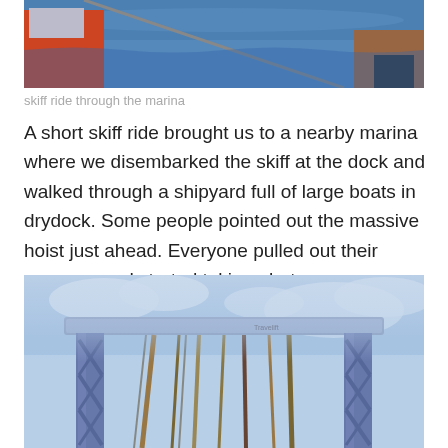[Figure (photo): Photo of people on a skiff boat on water, wearing orange life vests, blue ocean in background]
skiff ride through the marina
A short skiff ride brought us to a nearby marina where we disembarked the skiff at the dock and walked through a shipyard full of large boats in drydock. Some people pointed out the massive hoist just ahead. Everyone pulled out their cameras and started taking photos as we walked by. The tires alone towered over nearby parked cars.
[Figure (photo): Photo of a large blue boat hoist/travel lift crane structure against a partly cloudy sky, with straps hanging down]